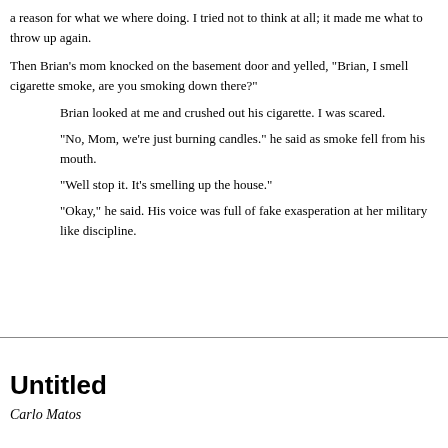a reason for what we where doing.  I tried not to think at all; it made me what to throw up again.
Then Brian's mom knocked on the basement door and yelled, "Brian, I smell cigarette smoke, are you smoking down there?"
Brian looked at me and crushed out his cigarette.  I was scared.
"No, Mom, we're just burning candles." he said as smoke fell from his mouth.
"Well stop it.  It's smelling up the house."
"Okay," he said.  His voice was full of fake exasperation at her military like discipline.
Untitled
Carlo Matos